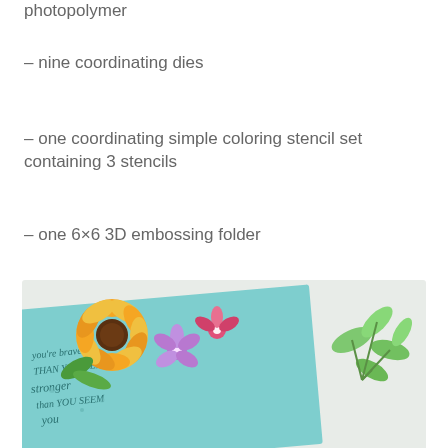– photopolymer
– nine coordinating dies
– one coordinating simple coloring stencil set containing 3 stencils
– one 6×6 3D embossing folder
Note: These products are NOT sold separately.
[Figure (photo): Close-up photo of a handmade craft card with colorful flowers (sunflower, purple and pink flowers) and green leaves on an aqua/teal background with handwritten script text reading 'you're braver than you believe, stronger than you seem']